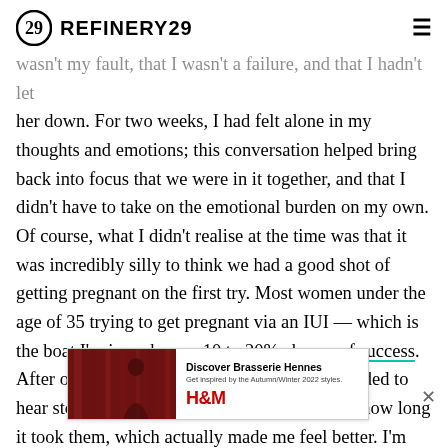REFINERY29
wasn't my fault, that I wasn't a failure, and that I hadn't let her down. For two weeks, I had felt alone in my thoughts and emotions; this conversation helped bring back into focus that we were in it together, and that I didn't have to take on the emotional burden on my own. Of course, what I didn't realise at the time was that it was incredibly silly to think we had a good shot of getting pregnant on the first try. Most women under the age of 35 trying to get pregnant via an IUI — which is the boat I'm in — have a 10 to 20% chance of success. After our first unsuccessful attempt, we proceeded to hear stories from our family and friends about how long it took them, which actually made me feel better. I'm now on my second try, and I feel a lot calmer. If it works, I... ce of circumstances... ns. In
[Figure (screenshot): Advertisement banner for H&M Discover Brasserie Hennes, Get inspired by the Autumn/Winter 2022 styles, with decorative restaurant background image and H&M logo]